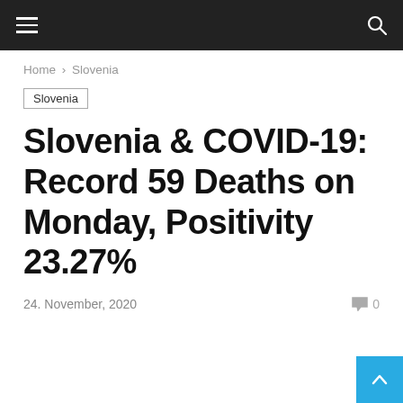Navigation bar with hamburger menu and search icon
Home › Slovenia
Slovenia
Slovenia & COVID-19: Record 59 Deaths on Monday, Positivity 23.27%
24. November, 2020  0